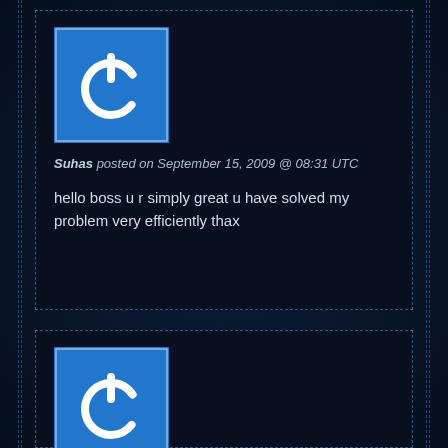[Figure (logo): Blue square avatar with white power button icon]
Suhas posted on September 15, 2009 @ 08:31 UTC
hello boss u r simply great u have solved my problem very efficiently thax
[Figure (logo): Blue square avatar with white power button icon]
Joram posted on September 29, 2009 @ 19:52 UTC